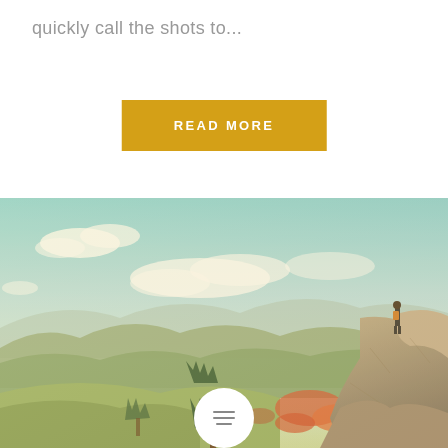quickly call the shots to...
READ MORE
[Figure (photo): A hiker with a backpack standing on a rocky cliff edge overlooking a vast mountain landscape with colorful autumn foliage, evergreen trees, rolling hills, and a pale blue sky with clouds. Vintage warm color tone.]
[Figure (illustration): A white circle icon with hamburger/menu lines inside, overlaid on the bottom center of the mountain photo.]